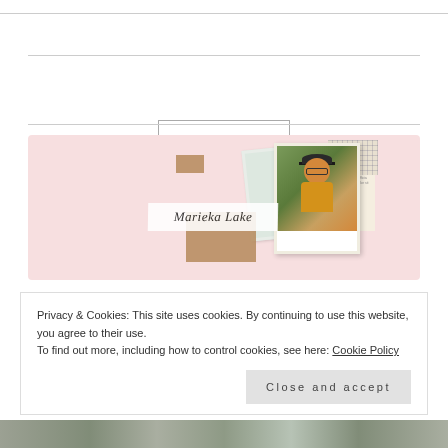[Figure (illustration): Navigation menu button with hamburger icon and text MENU, centered between two horizontal divider lines]
[Figure (illustration): Blog header banner with pink background showing a photo collage: a polaroid photo of a woman wearing a black hat and glasses with a yellow jacket, decorative brown paper pieces, a handwritten-style name 'Marieka Lake' on white background, a small checkerboard pattern, and newspaper/text clippings]
Privacy & Cookies: This site uses cookies. By continuing to use this website, you agree to their use.
To find out more, including how to control cookies, see here: Cookie Policy
Close and accept
[Figure (photo): Partial photo of outdoor scene visible at bottom of page]